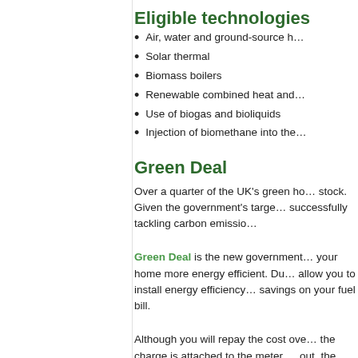Eligible technologies
Air, water and ground-source h…
Solar thermal
Biomass boilers
Renewable combined heat and…
Use of biogas and bioliquids
Injection of biomethane into the…
Green Deal
Over a quarter of the UK's green ho… stock. Given the government's targe… successfully tackling carbon emissio…
Green Deal is the new government … your home more energy efficient. Du… allow you to install energy efficiency… savings on your fuel bill.
Although you will repay the cost ove… the charge is attached to the meter … out, the idea is that the new occupa… from a more energy efficient propert…
Visit People's website for further info…